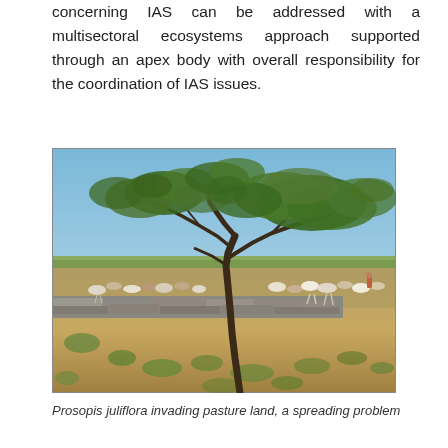concerning IAS can be addressed with a multisectoral ecosystems approach supported through an apex body with overall responsibility for the coordination of IAS issues.
[Figure (photo): Photograph of an arid savanna landscape with a large flat-topped acacia tree in the center foreground. A herd of cattle grazes in the middle distance beside a dry stone wall. Sparse dry grass and scrubby vegetation cover the ground. Clear blue sky above.]
Prosopis juliflora invading pasture land, a spreading problem